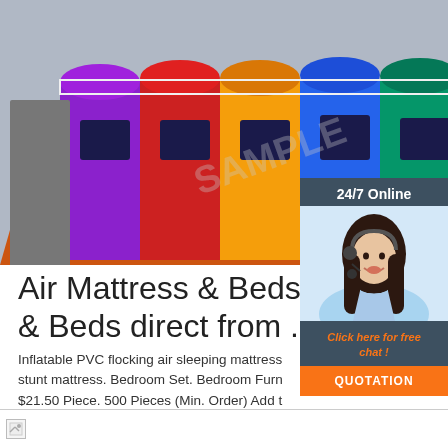[Figure (photo): Aerial view of a large colorful inflatable bouncy castle on an orange/red base, photographed from above. The castle has multicolored panels in purple, blue, red, yellow, and green.]
[Figure (photo): Customer service chat widget showing a smiling woman with a headset, labeled '24/7 Online' with 'Click here for free chat!' and a QUOTATION button.]
Air Mattress & Beds, Air M & Beds direct from ...
Inflatable PVC flocking air sleeping mattress stunt mattress. Bedroom Set. Bedroom Furn $21.50 Piece. 500 Pieces (Min. Order) Add t
Get Price
[Figure (other): Orange 'TOP' navigation button with orange dots arranged in an arc above the text]
[Figure (other): Broken image icon at the bottom of the page]